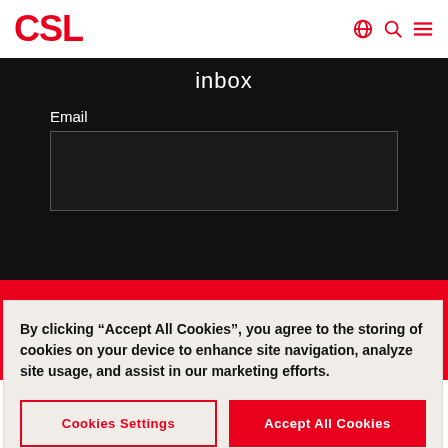CSL
inbox
Email
[Figure (screenshot): CSL logo in white text on red background section]
By clicking “Accept All Cookies”, you agree to the storing of cookies on your device to enhance site navigation, analyze site usage, and assist in our marketing efforts.
Cookies Settings
Accept All Cookies